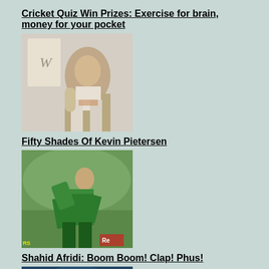Cricket Quiz Win Prizes: Exercise for brain, money for your pocket
[Figure (photo): Photo of Kevin Pietersen holding a trophy at a book event, with 'W' logo visible]
Fifty Shades Of Kevin Pietersen
[Figure (photo): Cricket player in green kit batting on field]
Shahid Afridi: Boom Boom! Clap! Phus!
[Figure (photo): West Indies cricket bowler in red jersey in action]
Good Luck Chuck - ICC on a Swachh Cricket Abhiyan
[Figure (photo): Indian cricket player Virat Kohli in blue India kit batting]
Is Virat Kohli back in form?